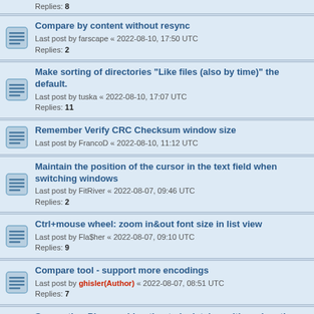Replies: 8
Compare by content without resync
Last post by farscape « 2022-08-10, 17:50 UTC
Replies: 2
Make sorting of directories "Like files (also by time)" the default.
Last post by tuska « 2022-08-10, 17:07 UTC
Replies: 11
Remember Verify CRC Checksum window size
Last post by FrancoD « 2022-08-10, 11:12 UTC
Maintain the position of the cursor in the text field when switching windows
Last post by FitRiver « 2022-08-07, 09:46 UTC
Replies: 2
Ctrl+mouse wheel: zoom in&out font size in list view
Last post by Fla$her « 2022-08-07, 09:10 UTC
Replies: 9
Compare tool - support more encodings
Last post by ghisler(Author) « 2022-08-07, 08:51 UTC
Replies: 7
Suggestion:Please add option to lock tab position when there are multi lines
Last post by ghisler(Author) « 2022-08-07, 08:41 UTC
Replies: 1
Auto-save tabs
Last post by Fla$her « 2022-08-07, 06:33 UTC
Replies: 1